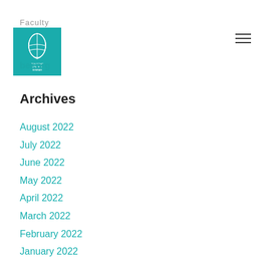Faculty
[Figure (logo): Key West Literary Seminar logo - teal square with conch shell icon and text]
ber.org
Archives
August 2022
July 2022
June 2022
May 2022
April 2022
March 2022
February 2022
January 2022